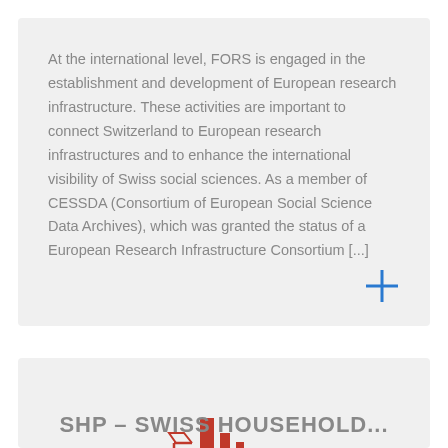At the international level, FORS is engaged in the establishment and development of European research infrastructure. These activities are important to connect Switzerland to European research infrastructures and to enhance the international visibility of Swiss social sciences. As a member of CESSDA (Consortium of European Social Science Data Archives), which was granted the status of a European Research Infrastructure Consortium [...]
[Figure (logo): Red logo icon resembling a small bar chart or building silhouette]
SHP – SWISS HOUSEHOLD...